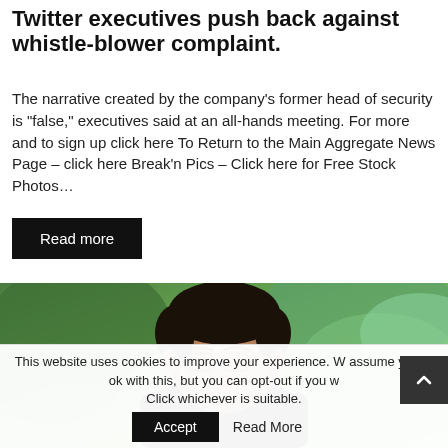Twitter executives push back against whistle-blower complaint.
The narrative created by the company’s former head of security is “false,” executives said at an all-hands meeting. For more and to sign up click here To Return to the Main Aggregate News Page – click here Break’n Pics – Click here for Free Stock Photos…
Read more
[Figure (photo): Portrait photo of a man with glasses and dark hair wearing a black top, with green foliage in the background]
This website uses cookies to improve your experience. We assume you’re ok with this, but you can opt-out if you wish. Click whichever is suitable.
Accept
Read More